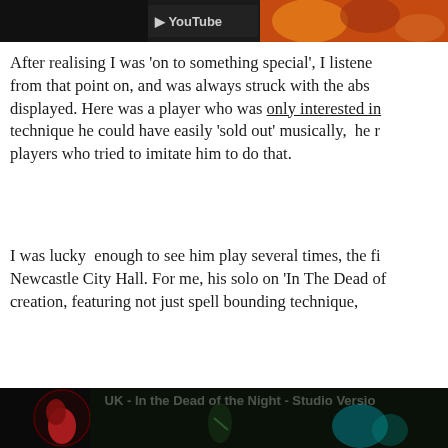[Figure (screenshot): Top partial screenshot of a YouTube video player showing colorful abstract art, with YouTube logo/text visible at the top]
After realising I was 'on to something special', I listened from that point on, and was always struck with the abs displayed. Here was a player who was only interested in technique he could have easily 'sold out' musically, he r players who tried to imitate him to do that.
I was lucky enough to see him play several times, the fi Newcastle City Hall. For me, his solo on 'In The Dead of creation, featuring not just spell bounding technique,
[Figure (screenshot): Screenshot of a YouTube video thumbnail showing 'UK - In the Dead of the Night - Studio Version' with a guitarist silhouette on left and concert imagery]